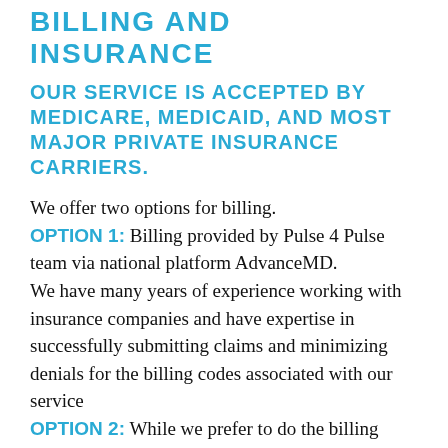BILLING AND INSURANCE
OUR SERVICE IS ACCEPTED BY MEDICARE, MEDICAID, AND MOST MAJOR PRIVATE INSURANCE CARRIERS.
We offer two options for billing. OPTION 1: Billing provided by Pulse 4 Pulse team via national platform AdvanceMD. We have many years of experience working with insurance companies and have expertise in successfully submitting claims and minimizing denials for the billing codes associated with our service OPTION 2: While we prefer to do the billing because of our experience with these specific